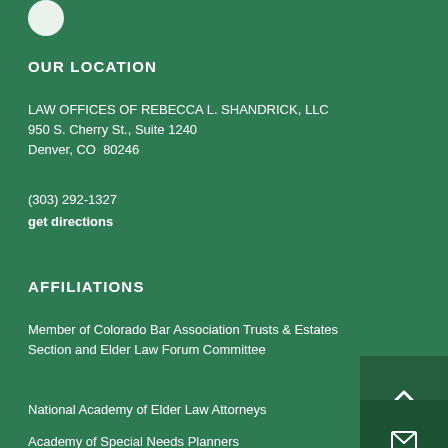[Figure (logo): White circle logo in top left corner]
OUR LOCATION
LAW OFFICES OF REBECCA L. SHANDRICK, LLC
950 S. Cherry St., Suite 1240
Denver, CO  80246
(303) 292-1327
get directions
AFFILIATIONS
Member of Colorado Bar Association Trusts & Estates Section and Elder Law Forum Committee
National Academy of Elder Law Attorneys
Academy of Special Needs Planners